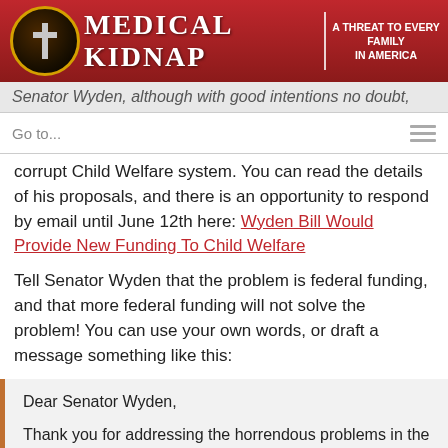MEDICAL KIDNAP | A THREAT TO EVERY FAMILY IN AMERICA
Senator Wyden, although with good intentions no doubt,
Go to...
corrupt Child Welfare system. You can read the details of his proposals, and there is an opportunity to respond by email until June 12th here: Wyden Bill Would Provide New Funding To Child Welfare
Tell Senator Wyden that the problem is federal funding, and that more federal funding will not solve the problem! You can use your own words, or draft a message something like this:
Dear Senator Wyden,

Thank you for addressing the horrendous problems in the Child Welfare system. However, the solution to these problems and abuses is not more federal funding or